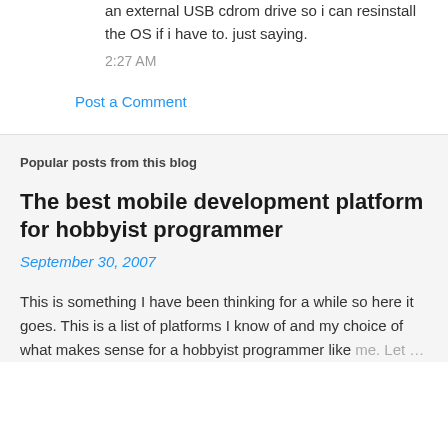an external USB cdrom drive so i can resinstall the OS if i have to. just saying.
2:27 AM
Post a Comment
Popular posts from this blog
The best mobile development platform for hobbyist programmer
September 30, 2007
This is something I have been thinking for a while so here it goes. This is a list of platforms I know of and my choice of what makes sense for a hobbyist programmer like me. Let …